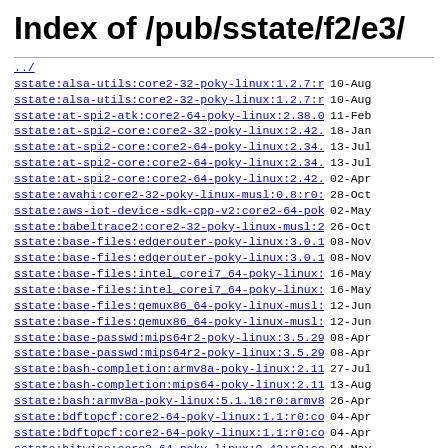Index of /pub/sstate/f2/e3/
../
sstate:alsa-utils:core2-32-poky-linux:1.2.7:r0:..> 10-Aug
sstate:alsa-utils:core2-32-poky-linux:1.2.7:r0:..> 10-Aug
sstate:at-spi2-atk:core2-64-poky-linux:2.38.0:r..> 11-Feb
sstate:at-spi2-core:core2-32-poky-linux:2.42.0:..> 18-Jan
sstate:at-spi2-core:core2-64-poky-linux:2.34.0:..> 13-Jul
sstate:at-spi2-core:core2-64-poky-linux:2.34.0:..> 13-Jul
sstate:at-spi2-core:core2-64-poky-linux:2.42.0:..> 02-Apr
sstate:avahi:core2-32-poky-linux-musl:0.8:r0:co..> 28-Oct
sstate:aws-iot-device-sdk-cpp-v2:core2-64-poky-..> 02-May
sstate:babeltrace2:core2-32-poky-linux-musl:2.0..> 26-Oct
sstate:base-files:edgerouter-poky-linux:3.0.14:..> 08-Nov
sstate:base-files:edgerouter-poky-linux:3.0.14:..> 08-Nov
sstate:base-files:intel_corei7_64-poky-linux:3...> 16-May
sstate:base-files:intel_corei7_64-poky-linux:3...> 16-May
sstate:base-files:qemux86_64-poky-linux-musl:3...> 12-Jun
sstate:base-files:qemux86_64-poky-linux-musl:3...> 12-Jun
sstate:base-passwd:mips64r2-poky-linux:3.5.29:r..> 08-Apr
sstate:base-passwd:mips64r2-poky-linux:3.5.29:r..> 08-Apr
sstate:bash-completion:armv8a-poky-linux:2.11:r..> 27-Jul
sstate:bash-completion:mips64-poky-linux:2.11:r..> 13-Aug
sstate:bash:armv8a-poky-linux:5.1.16:r0:armv8a:..> 26-Apr
sstate:bdftopcf:core2-64-poky-linux:1.1:r0:core..> 04-Apr
sstate:bdftopcf:core2-64-poky-linux:1.1:r0:core..> 04-Apr
sstate:bitwise:core2-64-poky-linux:0.42:r0:core..> 04-May